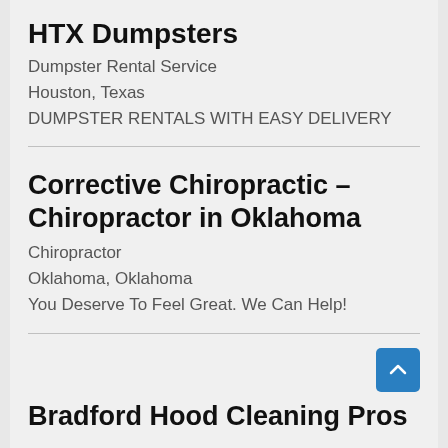HTX Dumpsters
Dumpster Rental Service
Houston, Texas
DUMPSTER RENTALS WITH EASY DELIVERY
Corrective Chiropractic – Chiropractor in Oklahoma
Chiropractor
Oklahoma, Oklahoma
You Deserve To Feel Great. We Can Help!
Bradford Hood Cleaning Pros